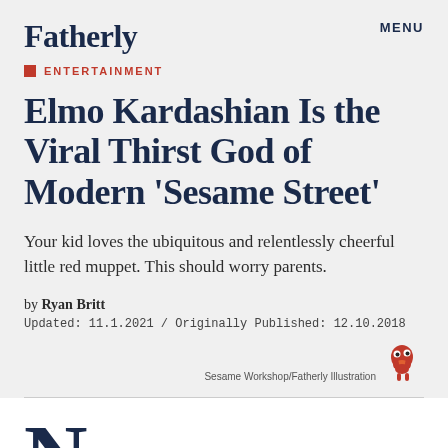Fatherly
MENU
ENTERTAINMENT
Elmo Kardashian Is the Viral Thirst God of Modern ‘Sesame Street’
Your kid loves the ubiquitous and relentlessly cheerful little red muppet. This should worry parents.
by Ryan Britt
Updated: 11.1.2021 / Originally Published: 12.10.2018
Sesame Workshop/Fatherly Illustration
o sane adult would ever pick Elmo as